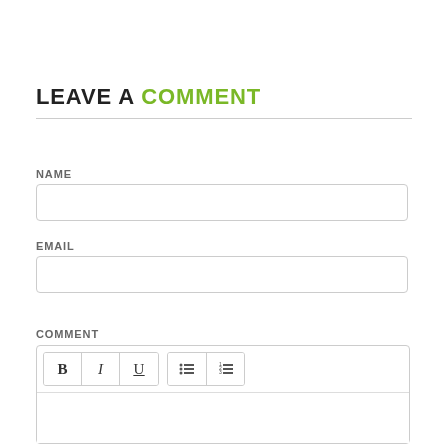LEAVE A COMMENT
NAME
EMAIL
COMMENT